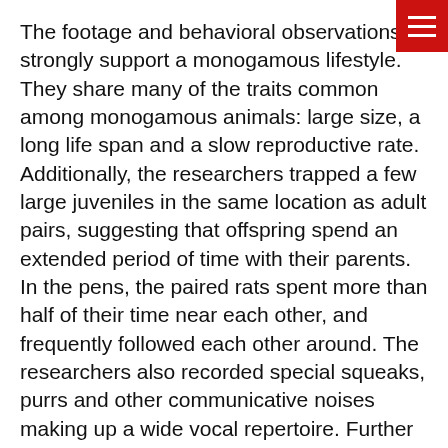The footage and behavioral observations strongly support a monogamous lifestyle. They share many of the traits common among monogamous animals: large size, a long life span and a slow reproductive rate. Additionally, the researchers trapped a few large juveniles in the same location as adult pairs, suggesting that offspring spend an extended period of time with their parents. In the pens, the paired rats spent more than half of their time near each other, and frequently followed each other around. The researchers also recorded special squeaks, purrs and other communicative noises making up a wide vocal repertoire. Further behavioral studies and field observation would uncover more insights into their reproductive and family life.
After the researchers established a baseline of behavior, they offered rats branches from the poison arrow tree. Although rats did not sequester every time the plant was offered, 10 rats did at least once. They